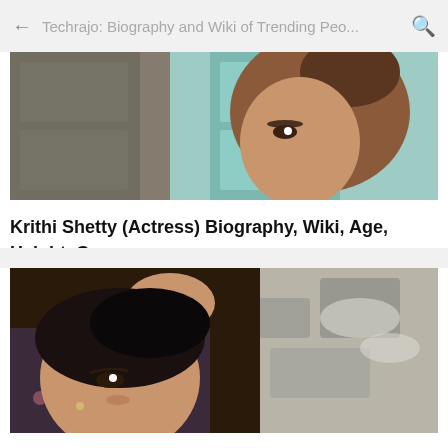Techrajo: Biography and Wiki of Trending Peo...
[Figure (photo): Close-up photo of Krithi Shetty, actress, with brown hair against a teal/turquoise background]
Krithi Shetty (Actress) Biography, Wiki, Age, Height, Career, Family, Awards and Many More
[Figure (photo): Close-up photo of Shree Gopika Neelnath, actress, with black hair and floral outfit, hand raised near head]
Shree Gopika Neelnath (Actress) Biography, Wiki, Age, Height, Career, Family, Awards and Many More